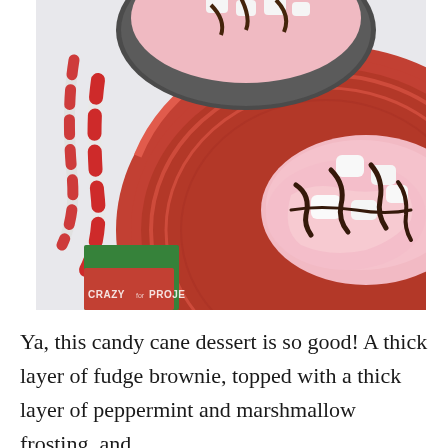[Figure (photo): Overhead photo of a red plate with peppermint candy cane ice cream or dessert topped with marshmallows and chocolate drizzle, alongside a mug with similar toppings, candy canes on a white surface, and a green and red napkin. Watermark reads CRAZY for PROJECTS in bottom-left corner.]
Ya, this candy cane dessert is so good! A thick layer of fudge brownie, topped with a thick layer of peppermint and marshmallow frosting, and